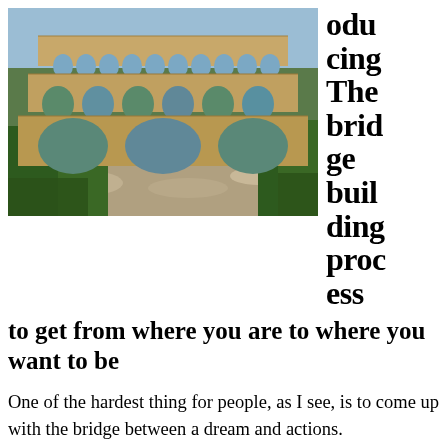[Figure (photo): Photograph of a Roman aqueduct (Pont du Gard) with multiple tiers of stone arches spanning a river, surrounded by green trees under a blue sky.]
oducing The bridge building process to get from where you are to where you want to be
One of the hardest thing for people, as I see, is to come up with the bridge between a dream and actions.
You can have the most amazing plan for the future, for a business, if you don't know what actions to take to get there the dream will